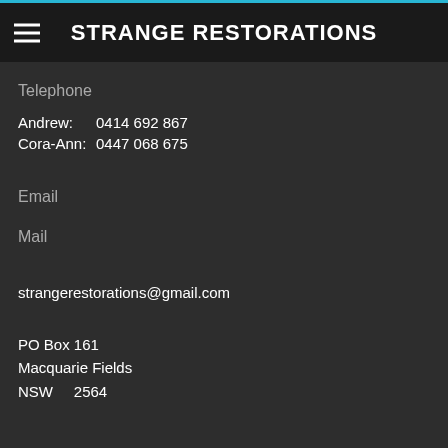STRANGE RESTORATIONS
Telephone
Andrew:    0414 692 867
Cora-Ann:  0447 068 675
Email
Mail
strangerestorations@gmail.com
PO Box 161
Macquarie Fields
NSW    2564